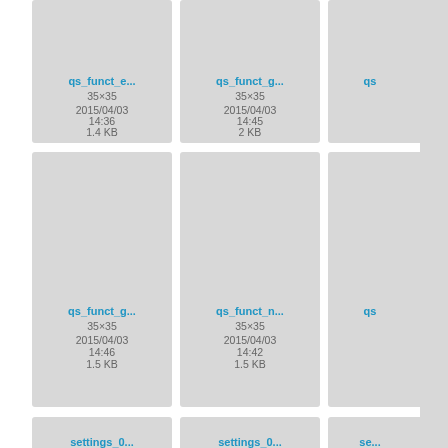[Figure (screenshot): File browser grid view showing image file thumbnails with metadata. Row 1: qs_funct_e... (35x35, 2015/04/03 14:36, 1.4 KB), qs_funct_g... (35x35, 2015/04/03 14:45, 2 KB), partial third card. Row 2: qs_funct_g... (35x35, 2015/04/03 14:46, 1.5 KB), qs_funct_n... (35x35, 2015/04/03 14:42, 1.5 KB), partial third card. Row 3: settings_0..., settings_0..., partial third card (all partial/cut off at bottom).]